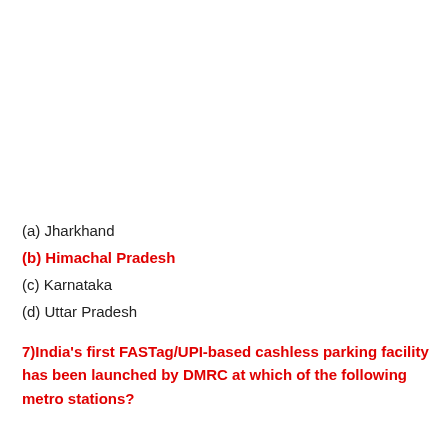(a) Jharkhand
(b) Himachal Pradesh
(c) Karnataka
(d) Uttar Pradesh
7)India’s first FASTag/UPI-based cashless parking facility has been launched by DMRC at which of the following metro stations?